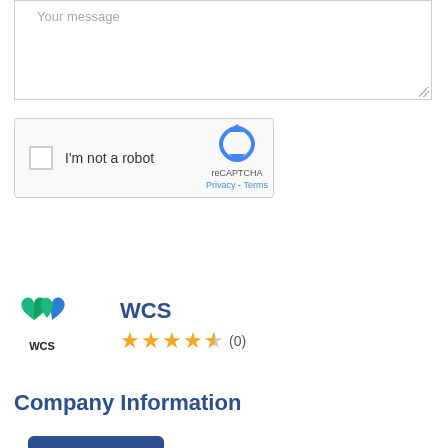[Figure (screenshot): Text area input box with 'Your message' placeholder text and resize handle]
[Figure (screenshot): reCAPTCHA widget with checkbox labeled 'I'm not a robot', reCAPTCHA logo, Privacy and Terms links]
Post a Review
[Figure (logo): WCS company logo with green and blue heart/W shapes and WCS text below]
WCS
★★★★☆(0)
Company Information